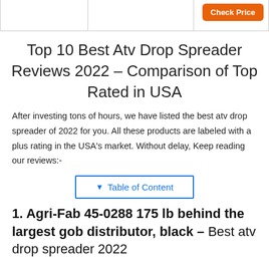|  |  |  |
| --- | --- | --- |
|  |  | Check Price |
Top 10 Best Atv Drop Spreader Reviews 2022 – Comparison of Top Rated in USA
After investing tons of hours, we have listed the best atv drop spreader of 2022 for you. All these products are labeled with a plus rating in the USA's market. Without delay, Keep reading our reviews:-
▾ Table of Content
1. Agri-Fab 45-0288 175 lb behind the largest gob distributor, black – Best atv drop spreader 2022